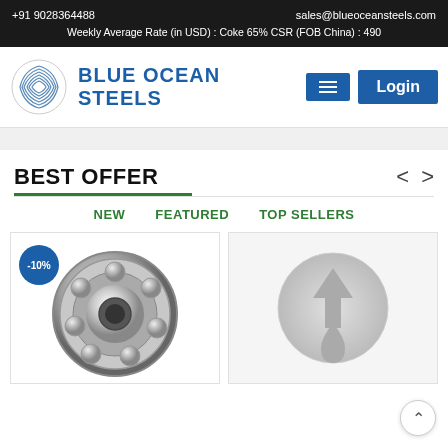+91 9028364488   sales@blueoceansteels.com
Weekly Average Rate (in USD) : Coke 65% CSR (FOB China) : 490
[Figure (logo): Blue Ocean Steels logo with circular spiral graphic and bold blue text 'BLUE OCEAN STEELS']
BEST OFFER
NEW   FEATURED   TOP SELLERS
[Figure (photo): Steel ball bearing product photo with -10% discount badge]
[Figure (logo): Gray placeholder logo/icon for second product]